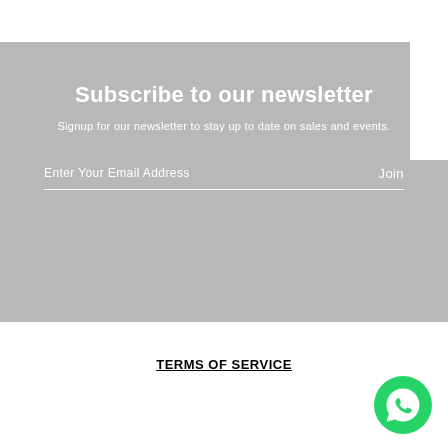Subscribe to our newsletter
Signup for our newsletter to stay up to date on sales and events.
Enter Your Email Address  Join
TERMS OF SERVICE
[Figure (logo): WhatsApp circular green logo with white phone handset icon]